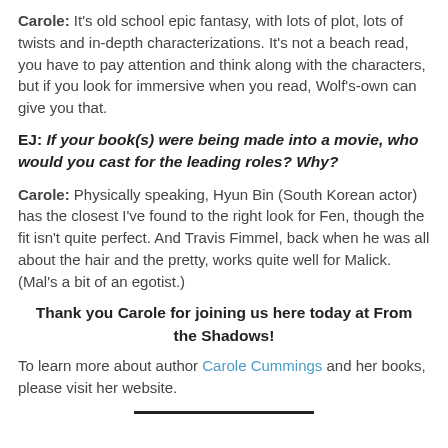Carole: It's old school epic fantasy, with lots of plot, lots of twists and in-depth characterizations. It's not a beach read, you have to pay attention and think along with the characters, but if you look for immersive when you read, Wolf's-own can give you that.
EJ: If your book(s) were being made into a movie, who would you cast for the leading roles? Why?
Carole: Physically speaking, Hyun Bin (South Korean actor) has the closest I've found to the right look for Fen, though the fit isn't quite perfect. And Travis Fimmel, back when he was all about the hair and the pretty, works quite well for Malick. (Mal's a bit of an egotist.)
Thank you Carole for joining us here today at From the Shadows!
To learn more about author Carole Cummings and her books, please visit her website.